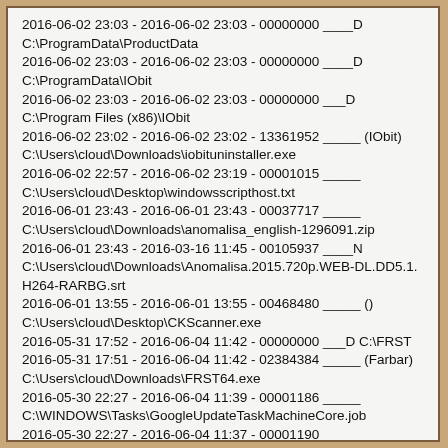2016-06-02 23:03 - 2016-06-02 23:03 - 00000000 ____D C:\ProgramData\ProductData
2016-06-02 23:03 - 2016-06-02 23:03 - 00000000 ____D C:\ProgramData\IObit
2016-06-02 23:03 - 2016-06-02 23:03 - 00000000 ___D C:\Program Files (x86)\IObit
2016-06-02 23:02 - 2016-06-02 23:02 - 13361952 _____ (IObit) C:\Users\cloud\Downloads\iobituninstaller.exe
2016-06-02 22:57 - 2016-06-02 23:19 - 00001015 _____ C:\Users\cloud\Desktop\windowsscripthost.txt
2016-06-01 23:43 - 2016-06-01 23:43 - 00037717 _____ C:\Users\cloud\Downloads\anomalisa_english-1296091.zip
2016-06-01 23:43 - 2016-03-16 11:45 - 00105937 ____N C:\Users\cloud\Downloads\Anomalisa.2015.720p.WEB-DL.DD5.1.H264-RARBG.srt
2016-06-01 13:55 - 2016-06-01 13:55 - 00468480 _____ () C:\Users\cloud\Desktop\CKScanner.exe
2016-05-31 17:52 - 2016-06-04 11:42 - 00000000 ___D C:\FRST
2016-05-31 17:51 - 2016-06-04 11:42 - 02384384 _____ (Farbar) C:\Users\cloud\Downloads\FRST64.exe
2016-05-30 22:27 - 2016-06-04 11:39 - 00001186 _____ C:\WINDOWS\Tasks\GoogleUpdateTaskMachineCore.job
2016-05-30 22:27 - 2016-06-04 11:37 - 00001190 _____